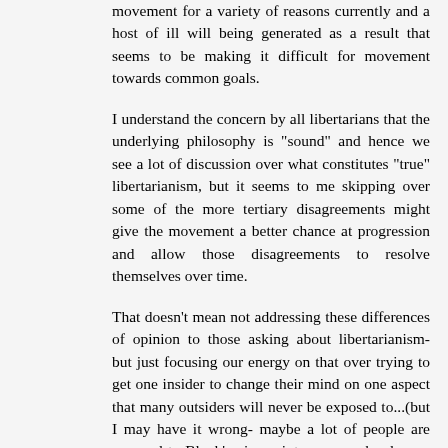movement for a variety of reasons currently and a host of ill will being generated as a result that seems to be making it difficult for movement towards common goals.
I understand the concern by all libertarians that the underlying philosophy is "sound" and hence we see a lot of discussion over what constitutes "true" libertarianism, but it seems to me skipping over some of the more tertiary disagreements might give the movement a better chance at progression and allow those disagreements to resolve themselves over time.
That doesn't mean not addressing these differences of opinion to those asking about libertarianism- but just focusing our energy on that over trying to get one insider to change their mind on one aspect that many outsiders will never be exposed to...(but I may have it wrong- maybe a lot of people are exposed to Block's viewpoints on open borders or evictionism and turned off to libertarianism as a result)\